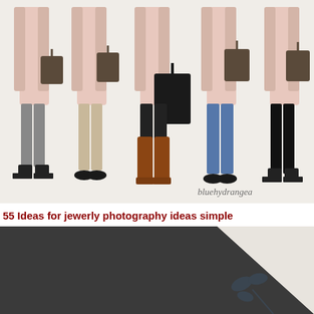[Figure (illustration): Fashion illustration showing 5 outfit combinations, each with a pink/blush coat over different bottoms (grey trousers, beige trousers, black trousers, blue jeans, black leggings), dark tote bags, and various shoes (black ankle boots, black loafers, brown riding boots, black loafers, black ankle boots). Watermark 'bluehydrangea' in bottom right.]
55 Ideas for jewerly photography ideas simple
[Figure (photo): Minimalist photography setup showing a dark grey/charcoal background on the left contrasting with a white/cream surface on the right, with a small plant or floral shadow visible in the lower right corner. Two-tone split background composition.]